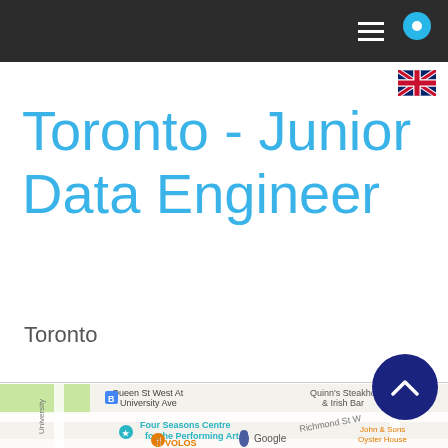Toronto - Junior Data Engineer
Toronto
[Figure (map): Google Maps view of downtown Toronto near Queen St West at University Ave, showing Four Seasons Centre for the Performing Arts, Quinn's Steakhouse & Irish Bar, John & Sons Oyster House, VOLOS restaurant, and a Google marker pin.]